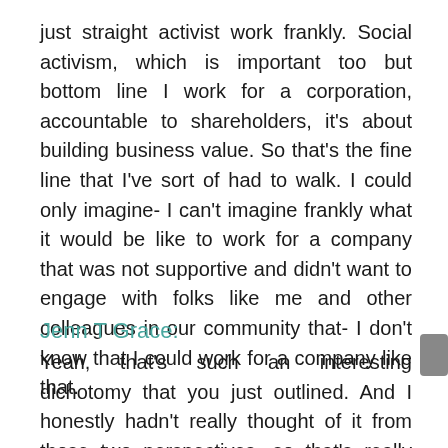just straight activist work frankly. Social activism, which is important too but bottom line I work for a corporation, accountable to shareholders, it's about building business value. So that's the fine line that I've sort of had to walk. I could only imagine- I can't imagine frankly what it would be like to work for a company that was not supportive and didn't want to engage with folks like me and other colleagues in our community that- I don't know that I could work for a company like that.
Jenn T Grace:
Yeah, that's such an interesting dichotomy that you just outlined. And I honestly hadn't really thought of it from those two perspectives, so that's really interesting. And to your point of not really feeling